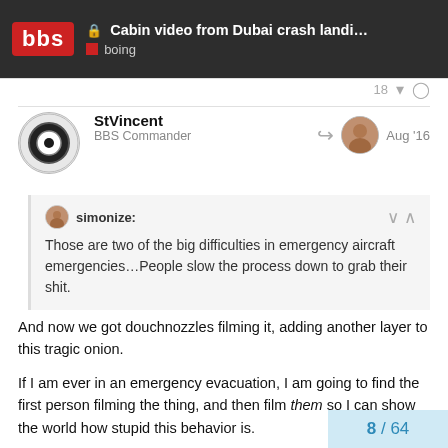Cabin video from Dubai crash landing: "Le..." | boing
StVincent
BBS Commander
Aug '16
simonize:
Those are two of the big difficulties in emergency aircraft emergencies…People slow the process down to grab their shit.
And now we got douchnozzles filming it, adding another layer to this tragic onion.
If I am ever in an emergency evacuation, I am going to find the first person filming the thing, and then film them so I can show the world how stupid this behavior is.
8 / 64